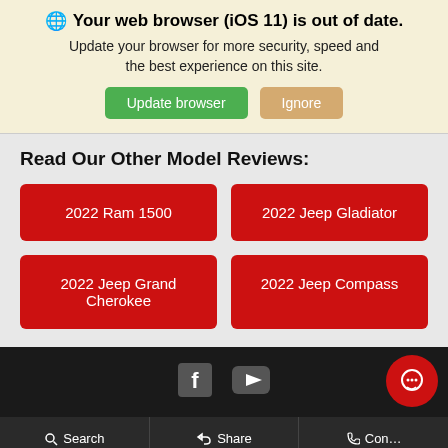🌐 Your web browser (iOS 11) is out of date. Update your browser for more security, speed and the best experience on this site. [Update browser] [Ignore]
Read Our Other Model Reviews:
2022 Ram 1500
2022 Jeep Gladiator
2022 Jeep Grand Cherokee
2022 Jeep Compass
🔍 Search   👍 Share   📞 Con…